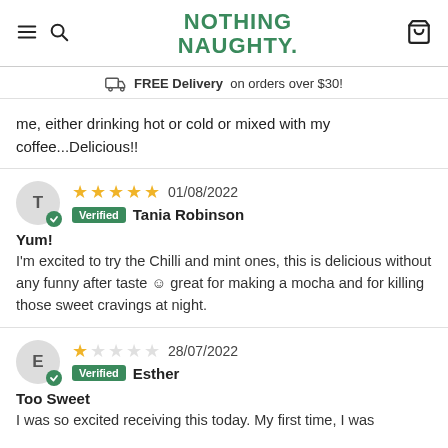NOTHING NAUGHTY.
FREE Delivery on orders over $30!
me, either drinking hot or cold or mixed with my coffee...Delicious!!
★★★★★ 01/08/2022 Verified Tania Robinson
Yum!
I'm excited to try the Chilli and mint ones, this is delicious without any funny after taste 😊 great for making a mocha and for killing those sweet cravings at night.
★☆☆☆☆ 28/07/2022 Verified Esther
Too Sweet
I was so excited receiving this today. My first time, I was